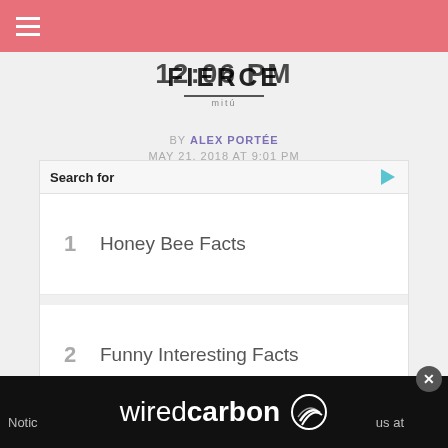FIERCE by mitú
12:06 PM
BY ALEX PORTÉE
MAY 21, 2018 AT 9:01 PM
[Figure (screenshot): Search ad widget with 'Search for' header, listing: 1. Honey Bee Facts, 2. Funny Interesting Facts. Yahoo! Search | Sponsored]
[Figure (logo): wiredcarbon logo with swoosh icon on black background bar at bottom]